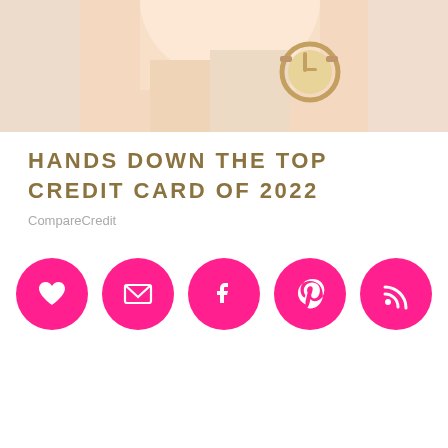[Figure (photo): A person wearing a white shirt and a brown leather watch, photographed from chest level up.]
HANDS DOWN THE TOP CREDIT CARD OF 2022
CompareCredit
[Figure (infographic): Five pink circular social media/action icons in a row: heart/like, email, Facebook, Pinterest, RSS feed.]